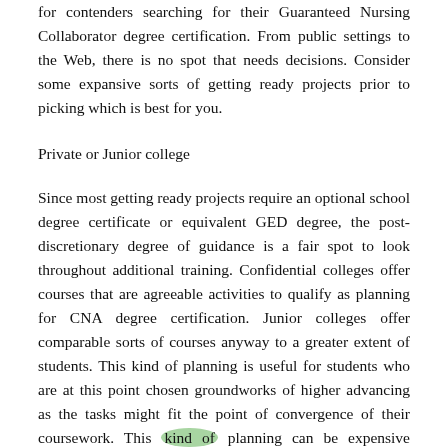for contenders searching for their Guaranteed Nursing Collaborator degree certification. From public settings to the Web, there is no spot that needs decisions. Consider some expansive sorts of getting ready projects prior to picking which is best for you.
Private or Junior college
Since most getting ready projects require an optional school degree certificate or equivalent GED degree, the post-discretionary degree of guidance is a fair spot to look throughout additional training. Confidential colleges offer courses that are agreeable activities to qualify as planning for CNA degree certification. Junior colleges offer comparable sorts of courses anyway to a greater extent of students. This kind of planning is useful for students who are at this point chosen groundworks of higher advancing as the tasks might fit the point of convergence of their coursework. This kind of planning can be expensive anyway and searching for elective decisions may be more important to those with monetary